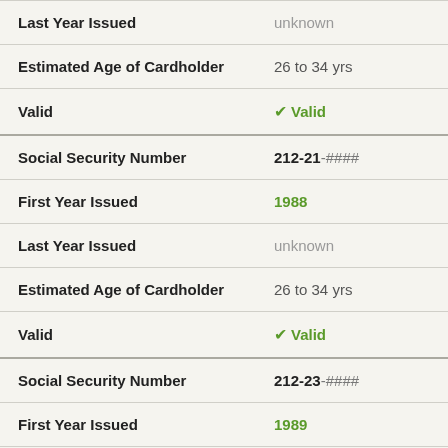| Last Year Issued | unknown |
| Estimated Age of Cardholder | 26 to 34 yrs |
| Valid | ✓ Valid |
| Social Security Number | 212-21-#### |
| First Year Issued | 1988 |
| Last Year Issued | unknown |
| Estimated Age of Cardholder | 26 to 34 yrs |
| Valid | ✓ Valid |
| Social Security Number | 212-23-#### |
| First Year Issued | 1989 |
| Last Year Issued | 1992 |